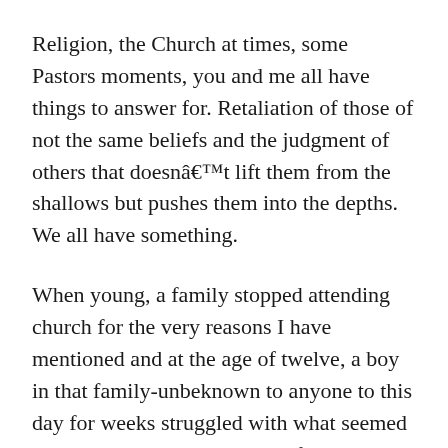Religion, the Church at times, some Pastors moments, you and me all have things to answer for. Retaliation of those of not the same beliefs and the judgment of others that doesnât lift them from the shallows but pushes them into the depths. We all have something.
When young, a family stopped attending church for the very reasons I have mentioned and at the age of twelve, a boy in that family-unbeknown to anyone to this day for weeks struggled with what seemed a call to leave his mother and father and live with his still actively worshipping grandfather. The pull was immense and it seemed clearly a line in the